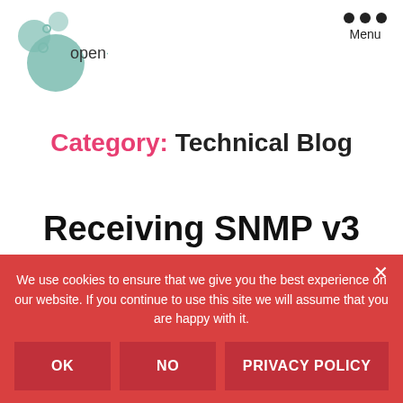open-future | Menu
Category: Technical Blog
Receiving SNMP v3 traps with Zabbix
We use cookies to ensure that we give you the best experience on our website. If you continue to use this site we will assume that you are happy with it.
OK
NO
PRIVACY POLICY